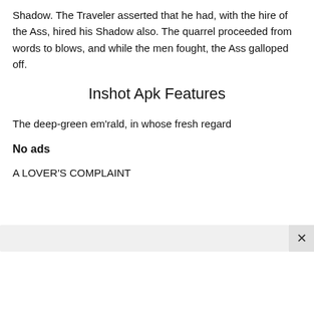Shadow. The Traveler asserted that he had, with the hire of the Ass, hired his Shadow also. The quarrel proceeded from words to blows, and while the men fought, the Ass galloped off.
Inshot Apk Features
The deep-green em'rald, in whose fresh regard
No ads
A LOVER'S COMPLAINT